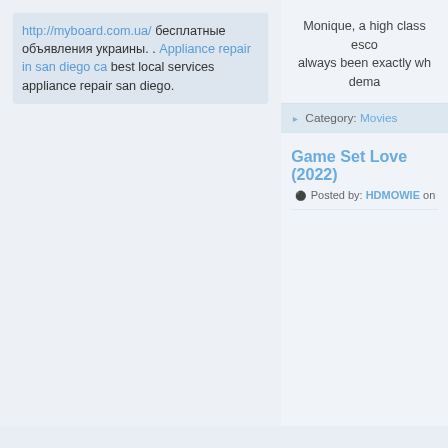http://myboard.com.ua/ бесплатные объявления украины. . Appliance repair in san diego ca best local services appliance repair san diego.
Monique, a high class esco always been exactly wh dema
▶ Category: Movies
Game Set Love (2022)
Posted by: HDMOWIE on